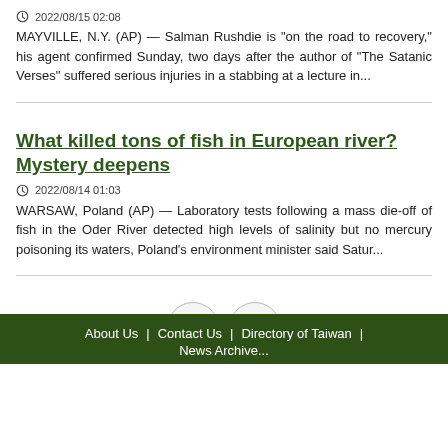2022/08/15 02:08
MAYVILLE, N.Y. (AP) — Salman Rushdie is “on the road to recovery,” his agent confirmed Sunday, two days after the author of “The Satanic Verses” suffered serious injuries in a stabbing at a lecture in...
What killed tons of fish in European river? Mystery deepens
2022/08/14 01:03
WARSAW, Poland (AP) — Laboratory tests following a mass die-off of fish in the Oder River detected high levels of salinity but no mercury poisoning its waters, Poland's environment minister said Satur...
About Us | Contact Us | Directory of Taiwan |